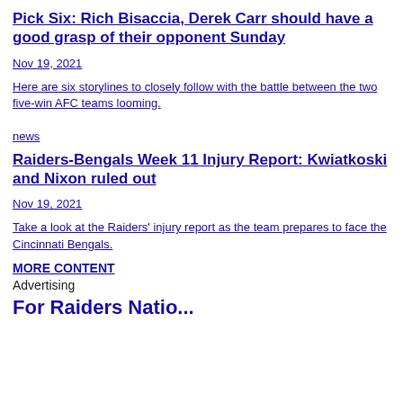Pick Six: Rich Bisaccia, Derek Carr should have a good grasp of their opponent Sunday
Nov 19, 2021
Here are six storylines to closely follow with the battle between the two five-win AFC teams looming.
news
Raiders-Bengals Week 11 Injury Report: Kwiatkoski and Nixon ruled out
Nov 19, 2021
Take a look at the Raiders' injury report as the team prepares to face the Cincinnati Bengals.
MORE CONTENT
Advertising
For Raiders Natio...